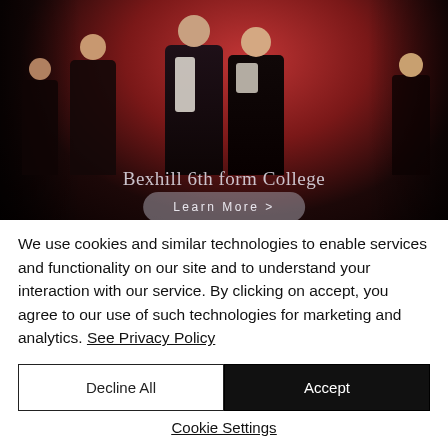[Figure (photo): Theatrical performance photo showing performers in costume on stage with dramatic red and dark lighting. Text overlay reads 'Bexhill 6th form College' with a 'Learn More >' button below.]
We use cookies and similar technologies to enable services and functionality on our site and to understand your interaction with our service. By clicking on accept, you agree to our use of such technologies for marketing and analytics. See Privacy Policy
Decline All
Accept
Cookie Settings